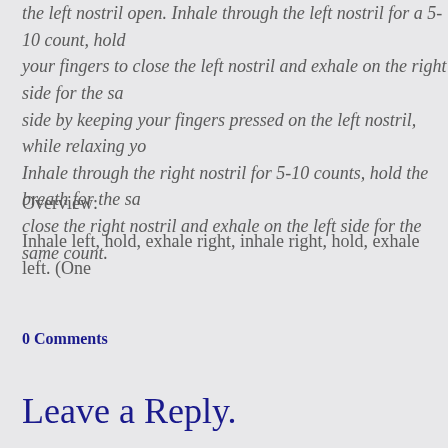the left nostril open. Inhale through the left nostril for a 5-10 count, hold your fingers to close the left nostril and exhale on the right side for the same side by keeping your fingers pressed on the left nostril, while relaxing yo... Inhale through the right nostril for 5-10 counts, hold the breath for the same close the right nostril and exhale on the left side for the same count.
Overview:
Inhale left, hold, exhale right, inhale right, hold, exhale left. (One...
0 Comments
Leave a Reply.